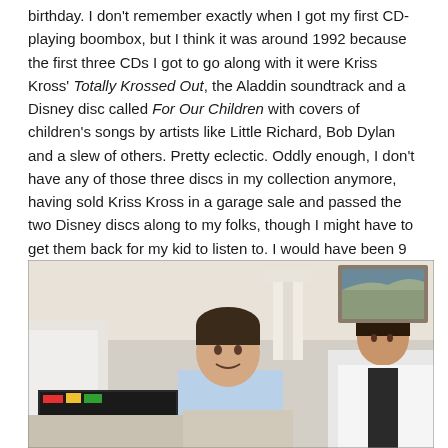birthday. I don't remember exactly when I got my first CD-playing boombox, but I think it was around 1992 because the first three CDs I got to go along with it were Kriss Kross' Totally Krossed Out, the Aladdin soundtrack and a Disney disc called For Our Children with covers of children's songs by artists like Little Richard, Bob Dylan and a slew of others. Pretty eclectic. Oddly enough, I don't have any of those three discs in my collection anymore, having sold Kriss Kross in a garage sale and passed the two Disney discs along to my folks, though I might have to get them back for my kid to listen to. I would have been 9 around that time.
[Figure (photo): A vintage-style photograph of a young boy sitting between two adults in what appears to be a living room setting. The boy is wearing a light blue shirt and smiling. A lamp and framed picture are visible in the background.]